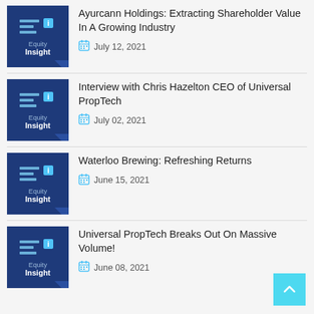Ayurcann Holdings: Extracting Shareholder Value In A Growing Industry — July 12, 2021
Interview with Chris Hazelton CEO of Universal PropTech — July 02, 2021
Waterloo Brewing: Refreshing Returns — June 15, 2021
Universal PropTech Breaks Out On Massive Volume! — June 08, 2021